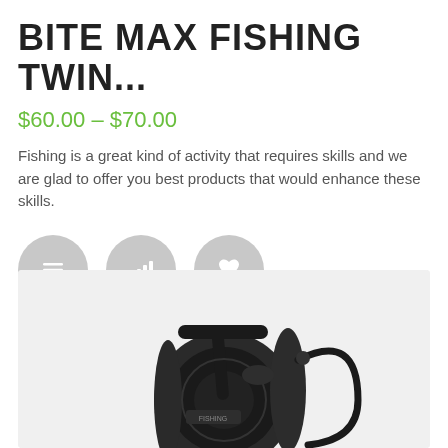BITE MAX FISHING TWIN...
$60.00 – $70.00
Fishing is a great kind of activity that requires skills and we are glad to offer you best products that would enhance these skills.
[Figure (other): Three circular grey icon buttons: hamburger menu icon, bar chart/signal icon, and heart/favorite icon]
[Figure (photo): Photo of a black fishing spinning reel on a light grey background]